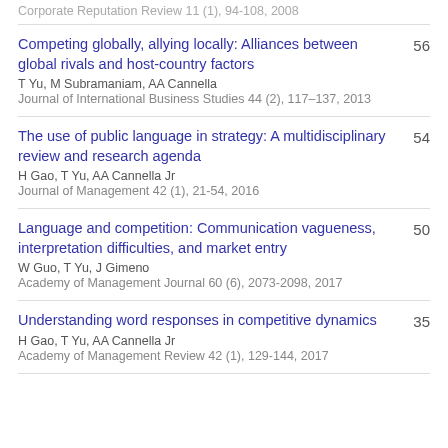Corporate Reputation Review 11 (1), 94-108, 2008
Competing globally, allying locally: Alliances between global rivals and host-country factors | T Yu, M Subramaniam, AA Cannella | Journal of International Business Studies 44 (2), 117–137, 2013 | 56
The use of public language in strategy: A multidisciplinary review and research agenda | H Gao, T Yu, AA Cannella Jr | Journal of Management 42 (1), 21-54, 2016 | 54
Language and competition: Communication vagueness, interpretation difficulties, and market entry | W Guo, T Yu, J Gimeno | Academy of Management Journal 60 (6), 2073-2098, 2017 | 50
Understanding word responses in competitive dynamics | H Gao, T Yu, AA Cannella Jr | Academy of Management Review 42 (1), 129-144, 2017 | 35